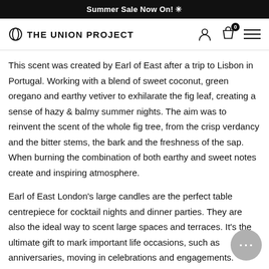Summer Sale Now On! ✳
THE UNION PROJECT
This scent was created by Earl of East after a trip to Lisbon in Portugal. Working with a blend of sweet coconut, green oregano and earthy vetiver to exhilarate the fig leaf, creating a sense of hazy & balmy summer nights. The aim was to reinvent the scent of the whole fig tree, from the crisp verdancy and the bitter stems, the bark and the freshness of the sap. When burning the combination of both earthy and sweet notes create and inspiring atmosphere.
Earl of East London's large candles are the perfect table centrepiece for cocktail nights and dinner parties. They are also the ideal way to scent large spaces and terraces. It's the ultimate gift to mark important life occasions, such as anniversaries, moving in celebrations and engagements.
Hand poured in their East London studio, this soy-wax candle will burn